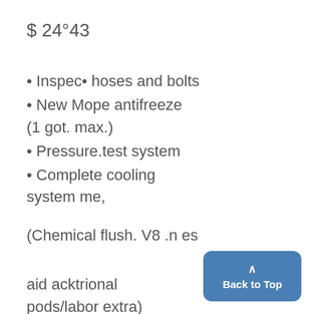$ 24°43
• Inspec• hoses and bolts
• New Mope antifreeze (1 got. max.)
• Pressure.test system
• Complete cooling system me,
(Chemical flush. V8 .n es
aid acktrional pods/labor extra)